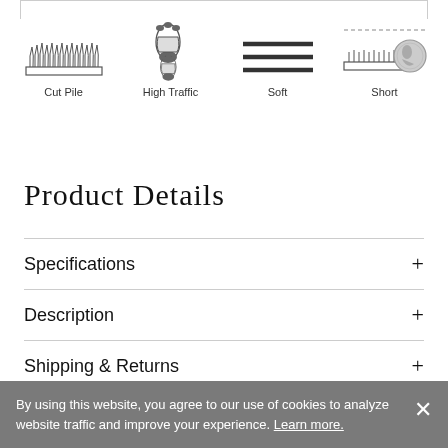[Figure (illustration): Four product attribute icons in a row: Cut Pile (carpet texture illustration), High Traffic (shoe print), Soft (three horizontal lines), Short (coin next to carpet cross-section). Each icon has a text label beneath it.]
Product Details
Specifications +
Description +
Shipping & Returns +
Care +
By using this website, you agree to our use of cookies to analyze website traffic and improve your experience. Learn more.